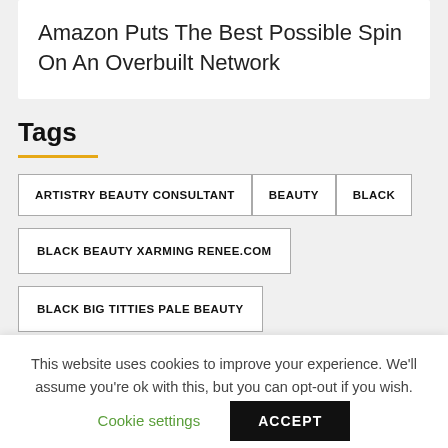Amazon Puts The Best Possible Spin On An Overbuilt Network
Tags
ARTISTRY BEAUTY CONSULTANT
BEAUTY
BLACK
BLACK BEAUTY XARMING RENEE.COM
BLACK BIG TITTIES PALE BEAUTY
BLINK BEAUTY LANCASTER
This website uses cookies to improve your experience. We'll assume you're ok with this, but you can opt-out if you wish.
Cookie settings
ACCEPT